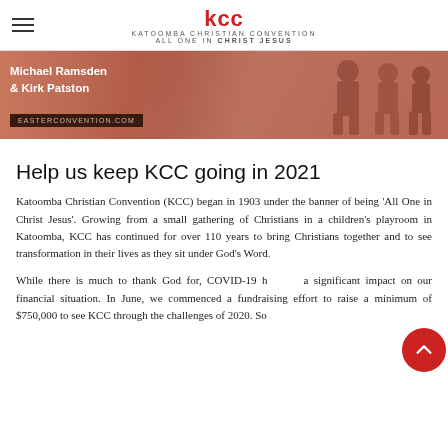KCC — KATOOMBA CHRISTIAN CONVENTION — ALL ONE IN CHRIST JESUS
[Figure (photo): Banner image with reddish-brown toned photo of people, text 'Michael Ramsden & Kirk Patston' and 'easterconvention.com']
Help us keep KCC going in 2021
Katoomba Christian Convention (KCC) began in 1903 under the banner of being 'All One in Christ Jesus'. Growing from a small gathering of Christians in a children's playroom in Katoomba, KCC has continued for over 110 years to bring Christians together and to see transformation in their lives as they sit under God's Word.
While there is much to thank God for, COVID-19 has had a significant impact on our financial situation. In June, we commenced a fundraising effort to raise a minimum of $750,000 to see KCC through the challenges of 2020. So